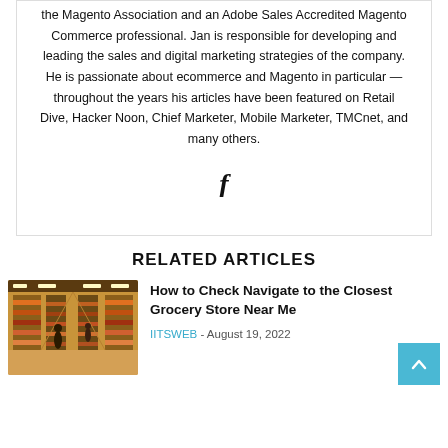the Magento Association and an Adobe Sales Accredited Magento Commerce professional. Jan is responsible for developing and leading the sales and digital marketing strategies of the company. He is passionate about ecommerce and Magento in particular — throughout the years his articles have been featured on Retail Dive, Hacker Noon, Chief Marketer, Mobile Marketer, TMCnet, and many others.
[Figure (other): Facebook social media icon (letter f)]
RELATED ARTICLES
[Figure (photo): Interior of a grocery store with aisles and shelves stocked with products, warm lighting overhead]
How to Check Navigate to the Closest Grocery Store Near Me
IITSWEB - August 19, 2022